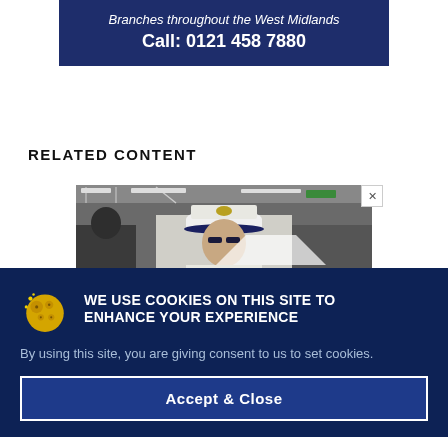Branches throughout the West Midlands
Call: 0121 458 7880
RELATED CONTENT
[Figure (photo): Photo of a naval officer in white uniform and cap, inside what appears to be a large facility, with an advertisement close button (X) in the top right corner.]
WE USE COOKIES ON THIS SITE TO ENHANCE YOUR EXPERIENCE
By using this site, you are giving consent to us to set cookies.
Accept & Close